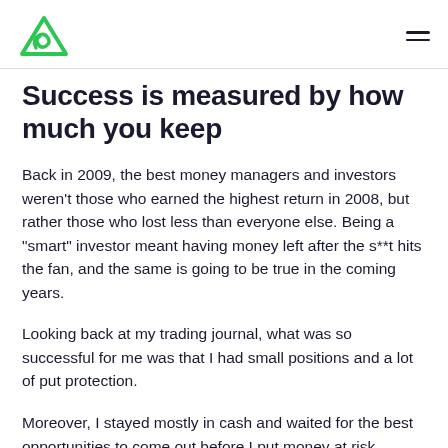[Logo: Alphachain] [Hamburger menu]
Success is measured by how much you keep
Back in 2009, the best money managers and investors weren't those who earned the highest return in 2008, but rather those who lost less than everyone else. Being a "smart" investor meant having money left after the s**t hits the fan, and the same is going to be true in the coming years.
Looking back at my trading journal, what was so successful for me was that I had small positions and a lot of put protection.
Moreover, I stayed mostly in cash and waited for the best opportunities to come out before I put money at risk.